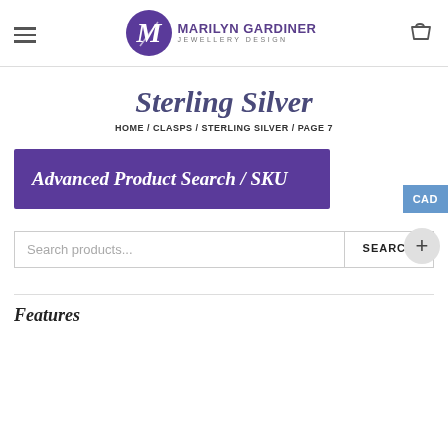Marilyn Gardiner Jewellery Design — navigation header with logo, hamburger menu, and cart icon
Sterling Silver
HOME / CLASPS / STERLING SILVER / PAGE 7
[Figure (screenshot): Purple banner with white bold italic text: Advanced Product Search / SKU]
Search products...
SEARCH
Features